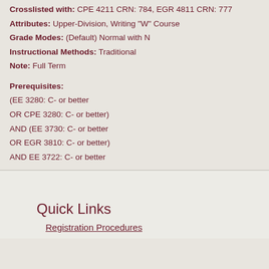Crosslisted with: CPE 4211 CRN: 784, EGR 4811 CRN: 777
Attributes: Upper-Division, Writing "W" Course
Grade Modes: (Default) Normal with N
Instructional Methods: Traditional
Note: Full Term
Prerequisites:
(EE 3280: C- or better
OR CPE 3280: C- or better)
AND (EE 3730: C- or better
OR EGR 3810: C- or better)
AND EE 3722: C- or better
Quick Links
Registration Procedures